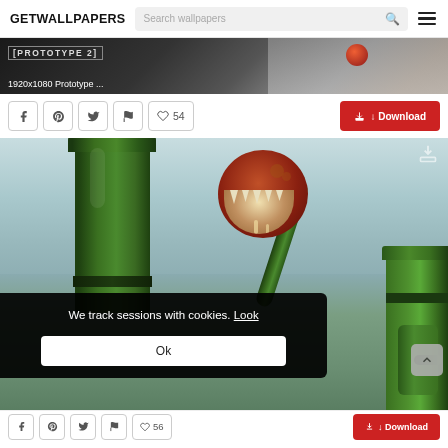GETWALLPAPERS  Search wallpapers  [hamburger menu]
[Figure (screenshot): Top banner image showing Prototype 2 game wallpaper, dark background with red sphere, labeled '1920x1080 Prototype ...']
1920x1080 Prototype ...
Social share buttons (Facebook, Pinterest, Twitter, Flag) | ♡ 54 | Download
[Figure (photo): Super Mario piranha plant wallpaper — large green pipes with a realistic carnivorous piranha plant emerging from them, open mouth with sharp teeth, misty background. A cookie consent banner overlays the lower left portion.]
We track sessions with cookies. Look
Ok
Social share buttons (Facebook, Pinterest, Twitter, Flag) | ♡ 56 | Download